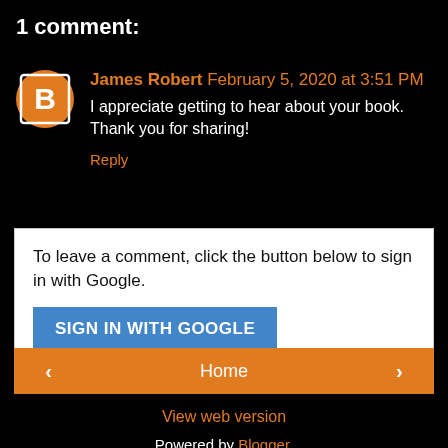1 comment:
James Robert  February 5, 2020 at 3:51 PM
I appreciate getting to hear about your book. Thank you for sharing!
Reply
To leave a comment, click the button below to sign in with Google.
SIGN IN WITH GOOGLE
< Home >
View web version
Powered by Blogger.